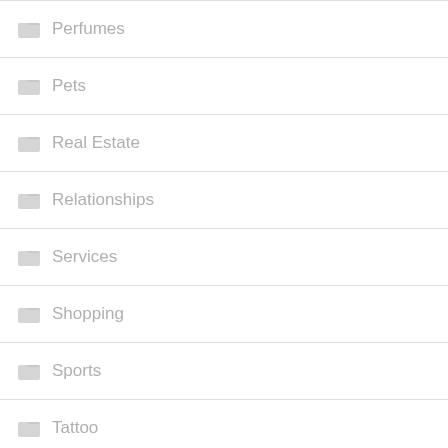Perfumes
Pets
Real Estate
Relationships
Services
Shopping
Sports
Tattoo
Toys